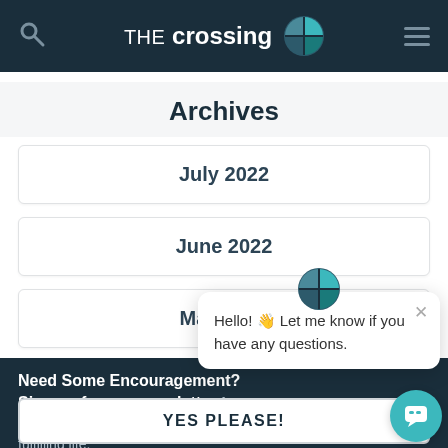THE crossing — navigation header with logo, search, and menu
Archives
July 2022
June 2022
May 2022
Need Some Encouragement?
Sign up for our newsletter for content designed to help you experience a more fulfilling life.
YES PLEASE!
Hello! 👋 Let me know if you have any questions.